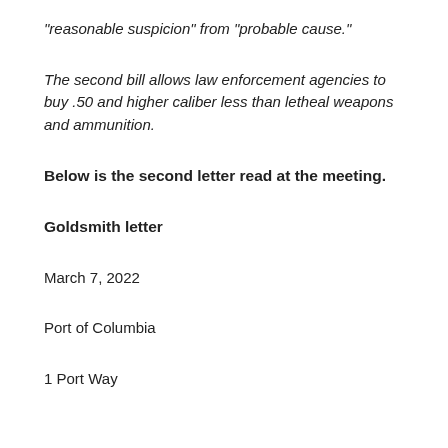"reasonable suspicion" from "probable cause."
The second bill allows law enforcement agencies to buy .50 and higher caliber less than letheal weapons and ammunition.
Below is the second letter read at the meeting.
Goldsmith letter
March 7, 2022
Port of Columbia
1 Port Way